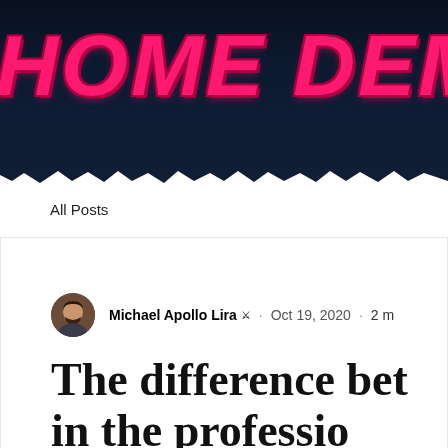[Figure (illustration): Website header banner with dark navy background and 'HOME DEMOS' text in large pink/magenta horror-style jagged font]
All Posts
Michael Apollo Lira ❖ · Oct 19, 2020 · 2 m
The difference bet... in the professio...